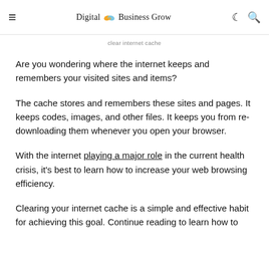≡  Digital Business Grow  ☾ 🔍
clear internet cache
Are you wondering where the internet keeps and remembers your visited sites and items?
The cache stores and remembers these sites and pages. It keeps codes, images, and other files. It keeps you from re-downloading them whenever you open your browser.
With the internet playing a major role in the current health crisis, it's best to learn how to increase your web browsing efficiency.
Clearing your internet cache is a simple and effective habit for achieving this goal. Continue reading to learn how to